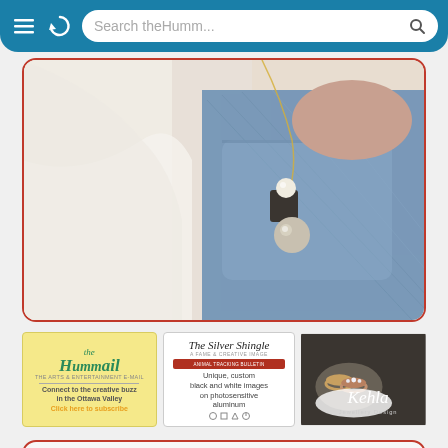Search theHumm...
[Figure (photo): Close-up photo of pearl and silver pendant necklace worn over white jacket and denim]
[Figure (advertisement): theHummail ad - Connect to the creative buzz in the Ottawa Valley. Click here to subscribe.]
[Figure (advertisement): The Silver Shingle - Unique, custom black and white images on photosensitive aluminum]
[Figure (advertisement): Kehla Jewellery Design ad with rings photo]
3 Jul 2021 Saturday
Exhibition: William Liao
Lower Mainland is a solo exhibition of new paintings by Vancouver-based artist William Liao, whose subject locations are found throughout British Columbia's Lower Mainland, including Vancouver